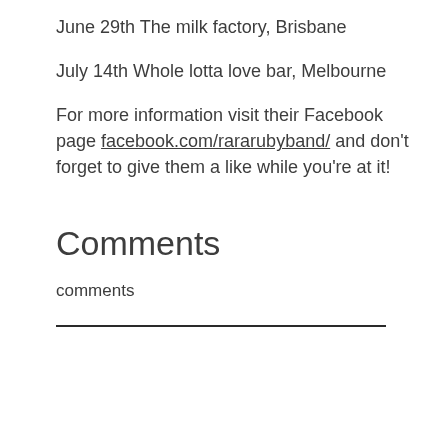June 29th The milk factory, Brisbane
July 14th Whole lotta love bar, Melbourne
For more information visit their Facebook page facebook.com/rararubyband/ and don't forget to give them a like while you're at it!
Comments
comments